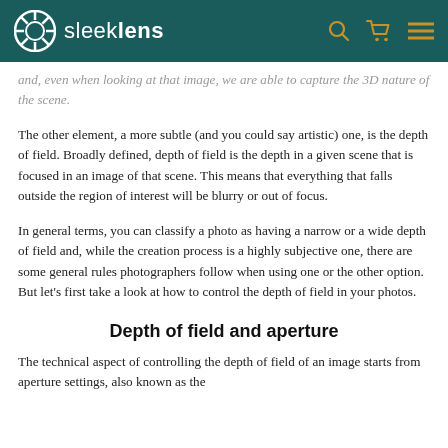sleeklens
and, even when looking at that image, we are able to capture the 3D nature of the scene.
The other element, a more subtle (and you could say artistic) one, is the depth of field. Broadly defined, depth of field is the depth in a given scene that is focused in an image of that scene. This means that everything that falls outside the region of interest will be blurry or out of focus.
In general terms, you can classify a photo as having a narrow or a wide depth of field and, while the creation process is a highly subjective one, there are some general rules photographers follow when using one or the other option. But let’s first take a look at how to control the depth of field in your photos.
Depth of field and aperture
The technical aspect of controlling the depth of field of an image starts from aperture settings, also known as the